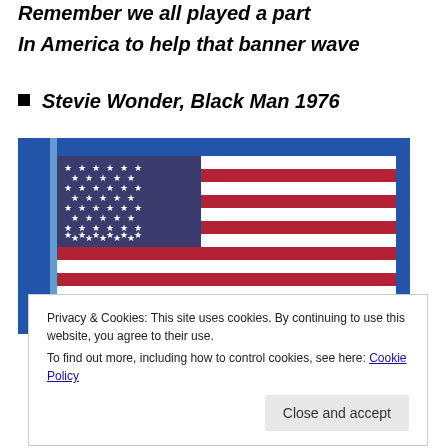Remember we all played a part
In America to help that banner wave
Stevie Wonder, Black Man 1976
[Figure (photo): An American flag waving against a clear blue sky, attached to a flagpole]
Privacy & Cookies: This site uses cookies. By continuing to use this website, you agree to their use.
To find out more, including how to control cookies, see here: Cookie Policy
Close and accept